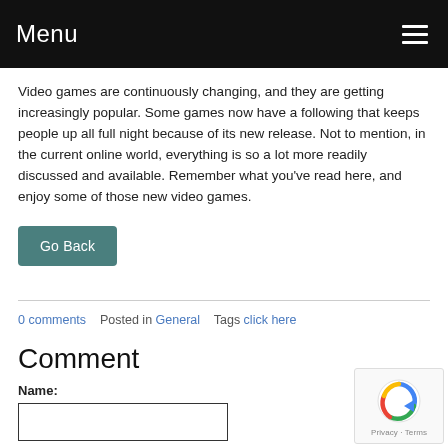Menu
Video games are continuously changing, and they are getting increasingly popular. Some games now have a following that keeps people up all full night because of its new release. Not to mention, in the current online world, everything is so a lot more readily discussed and available. Remember what you've read here, and enjoy some of those new video games.
Go Back
0 comments   Posted in General   Tags click here
Comment
Name: